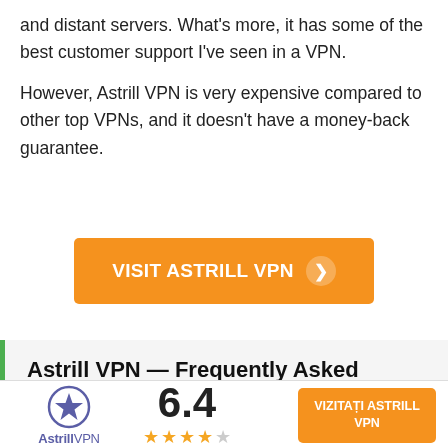and distant servers. What's more, it has some of the best customer support I've seen in a VPN.
However, Astrill VPN is very expensive compared to other top VPNs, and it doesn't have a money-back guarantee.
VISIT ASTRILL VPN ❯
Astrill VPN — Frequently Asked Questions
[Figure (logo): Astrill VPN logo with star icon and rating 6.4 with 3 out of 5 stars, and orange VIZITAȚI ASTRILL VPN button]